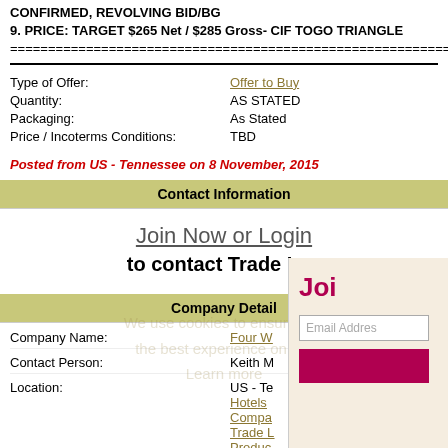CONFIRMED, REVOLVING BID/BG
9. PRICE: TARGET $265 Net / $285 Gross- CIF TOGO TRIANGLE
================================================================
Type of Offer: Offer to Buy
Quantity: AS STATED
Packaging: As Stated
Price / Incoterms Conditions: TBD
Posted from US - Tennessee on 8 November, 2015
Contact Information
Join Now or Login
to contact Trade Lea
Company Detail
Company Name: Four W
Contact Person: Keith M
Location: US - Te
Classification: Chemic
Similar Trade Leads: